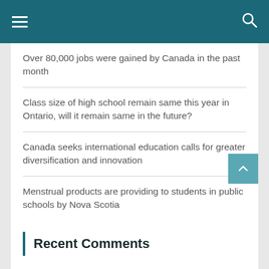Over 80,000 jobs were gained by Canada in the past month
Class size of high school remain same this year in Ontario, will it remain same in the future?
Canada seeks international education calls for greater diversification and innovation
Menstrual products are providing to students in public schools by Nova Scotia
Manitoba liberals made promise to give more support to students in reading
Recent Comments